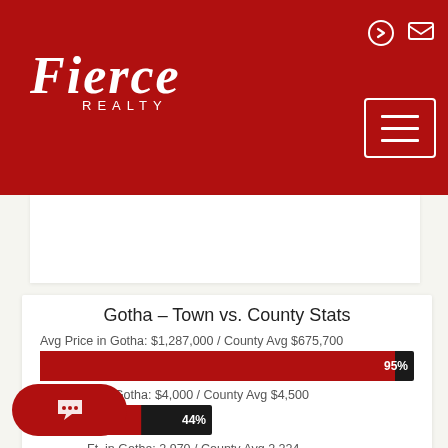[Figure (logo): Fierce Realty logo in white italic text on red background]
Gotha - Town vs. County Stats
Avg Price in Gotha: $1,287,000 / County Avg $675,700
[Figure (bar-chart): Avg Price]
Avg Taxes in Gotha: $4,000 / County Avg $4,500
[Figure (bar-chart): Avg Taxes]
Avg Sq. Ft. in Gotha: 2,970 / County Avg 2,224
[Figure (bar-chart): Avg Sq Ft]